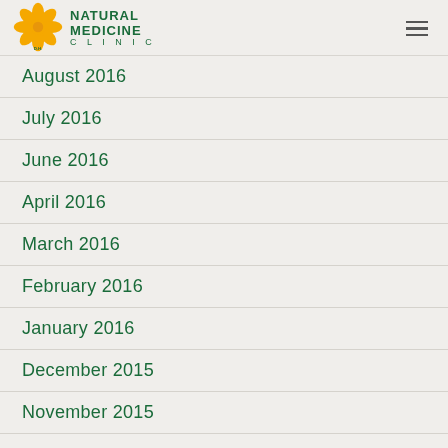[Figure (logo): Natural Medicine Clinic D.H. logo with orange flower and green text]
August 2016
July 2016
June 2016
April 2016
March 2016
February 2016
January 2016
December 2015
November 2015